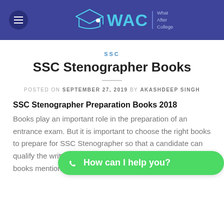WAC | What After College
SSC
SSC Stenographer Books
POSTED ON SEPTEMBER 27, 2019 BY AKASHDEEP SINGH
SSC Stenographer Preparation Books 2018
Books play an important role in the preparation of an entrance exam. But it is important to choose the right books to prepare for SSC Stenographer so that a candidate can qualify the written exam easily. Candidates can refer to the books mentioned in the SSC Stenographer exam: